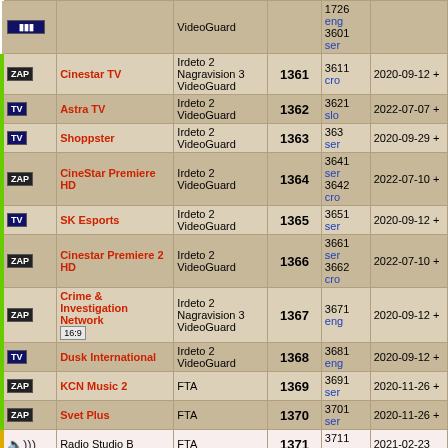| Icon | Channel | Encryption | Num | PID | Date |
| --- | --- | --- | --- | --- | --- |
|  |  | VideoGuard |  | 1726
eng
3601
ser |  |
| ZAP | Cinestar TV | Irdeto 2
Nagravision 3
VideoGuard | 1361 | 3611
cro | 2020-09-12 + |
| TV | Astra TV | Irdeto 2
VideoGuard | 1362 | 3621
slo | 2022-07-07 + |
| TV | Shoppster | Irdeto 2
VideoGuard | 1363 | 363
ser | 2020-09-29 + |
| ZAP | CineStar Premiere HD | Irdeto 2
VideoGuard | 1364 | 3641
ser
3642
cro | 2022-07-10 + |
| TV | SK Esports | Irdeto 2
VideoGuard | 1365 | 3651
ser | 2020-09-12 + |
| ZAP | Cinestar Premiere 2 HD | Irdeto 2
VideoGuard | 1366 | 3661
ser
3662
cro | 2022-07-10 + |
| ZAP | Crime & Investigation Network 16:9 | Irdeto 2
Nagravision 3
VideoGuard | 1367 | 3671
eng | 2020-09-12 + |
| TV | Dusk International | Irdeto 2
VideoGuard | 1368 | 3681
eng | 2020-09-12 + |
| ZAP | KCN Music 2 | FTA | 1369 | 3691
ser | 2020-11-26 + |
| ZAP | Svet Plus | FTA | 1370 | 3701
ser | 2020-11-26 + |
| RADIO | Radio Studio B | FTA | 1371 | 3711
ser | 2021-02-23 |